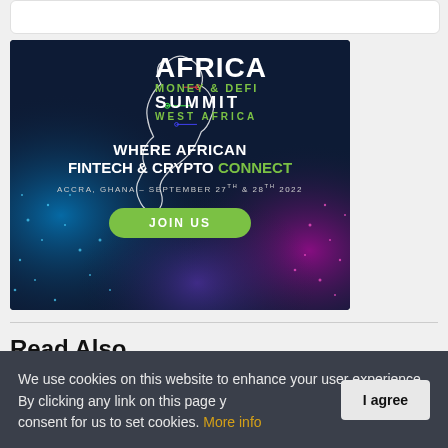[Figure (infographic): Africa Money & DeFi Summit West Africa advertisement banner. Dark navy background with colorful particle/light effects in blue, purple, and pink. Shows Africa continent outline with circuit board lines, AFRICA MONEY & DEFI SUMMIT WEST AFRICA logo, tagline WHERE AFRICAN FINTECH & CRYPTO CONNECT, location ACCRA, GHANA - SEPTEMBER 27TH & 28TH 2022, and a green JOIN US button.]
Read Also
We use cookies on this website to enhance your user experience. By clicking any link on this page you give your consent for us to set cookies. More info